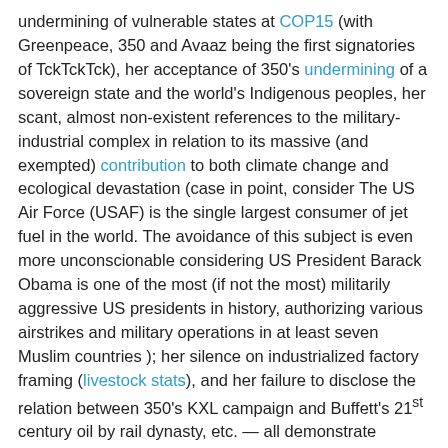undermining of vulnerable states at COP15 (with Greenpeace, 350 and Avaaz being the first signatories of TckTckTck), her acceptance of 350's undermining of a sovereign state and the world's Indigenous peoples, her scant, almost non-existent references to the military-industrial complex in relation to its massive (and exempted) contribution to both climate change and ecological devastation (case in point, consider The US Air Force (USAF) is the single largest consumer of jet fuel in the world. The avoidance of this subject is even more unconscionable considering US President Barack Obama is one of the most (if not the most) militarily aggressive US presidents in history, authorizing various airstrikes and military operations in at least seven Muslim countries ); her silence on industrialized factory framing (livestock stats), and her failure to disclose the relation between 350's KXL campaign and Buffett's 21st century oil by rail dynasty, etc. — all demonstrate Klein's own “noblesse oblige”.
Klein's most glaring “noblesse oblige” is the exclusion of ecosystem services accounting in her international best seller, This Changes Everything. The promotional description reads: “The really inconvenient truth is that it’s not about carbon—it’s about capitalism.” The solution is delivered in the next line: “The convenient truth is that we can seize this existential crisis to transform our failed system and build something radically better.” The elites are indeed seizing this